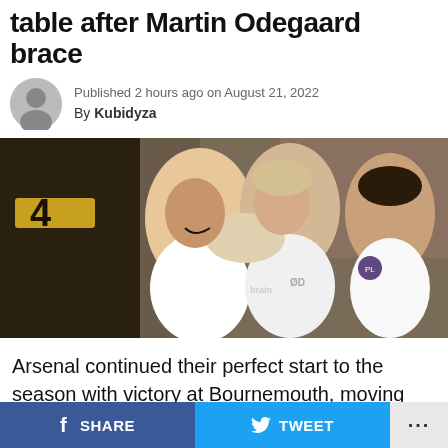table after Martin Odegaard brace
Published 2 hours ago on August 21, 2022
By Kubidyza
[Figure (photo): Arsenal players celebrating, wearing white kits, hugging each other on the pitch]
Arsenal continued their perfect start to the season with victory at Bournemouth, moving top of the table in the